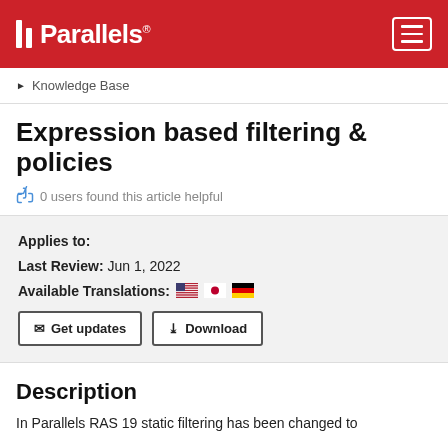Parallels
Knowledge Base
Expression based filtering & policies
0 users found this article helpful
Applies to:
Last Review: Jun 1, 2022
Available Translations: [US flag] [JP flag] [DE flag]
[Get updates button] [Download button]
Description
In Parallels RAS 19 static filtering has been changed to